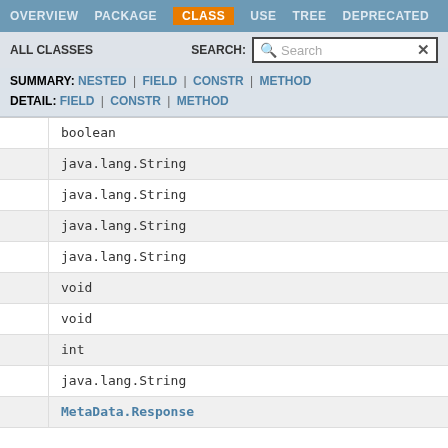OVERVIEW  PACKAGE  CLASS  USE  TREE  DEPRECATED
ALL CLASSES   SEARCH:  [Search]
SUMMARY: NESTED | FIELD | CONSTR | METHOD
DETAIL: FIELD | CONSTR | METHOD
boolean
java.lang.String
java.lang.String
java.lang.String
java.lang.String
void
void
int
java.lang.String
MetaData.Response